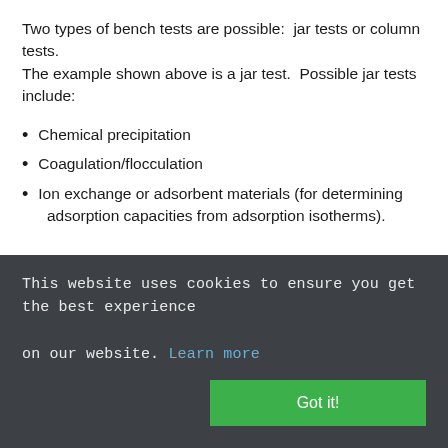Two types of bench tests are possible:  jar tests or column tests. The example shown above is a jar test.  Possible jar tests include:
Chemical precipitation
Coagulation/flocculation
Ion exchange or adsorbent materials (for determining adsorption capacities from adsorption isotherms).
Possible column tests include:
Biological treatment
Ion exchange (for determining media life or “breakthrough”)
This website uses cookies to ensure you get the best experience on our website. Learn more
Got it!